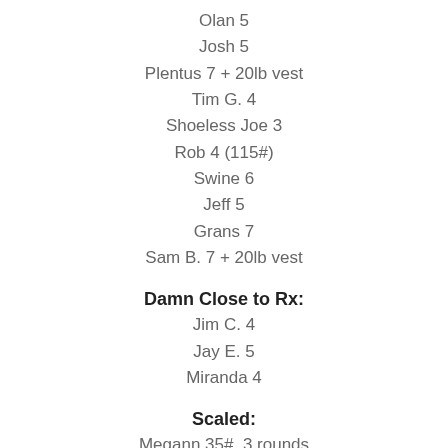Olan 5
Josh 5
Plentus 7 + 20lb vest
Tim G. 4
Shoeless Joe 3
Rob 4 (115#)
Swine 6
Jeff 5
Grans 7
Sam B. 7 + 20lb vest
Damn Close to Rx:
Jim C. 4
Jay E. 5
Miranda 4
Scaled:
Megann 35#, 3 rounds
Steph V 65#, 3
Steve Z 65#, 3
Kim G 45#, 4
Ellie 45#, 4